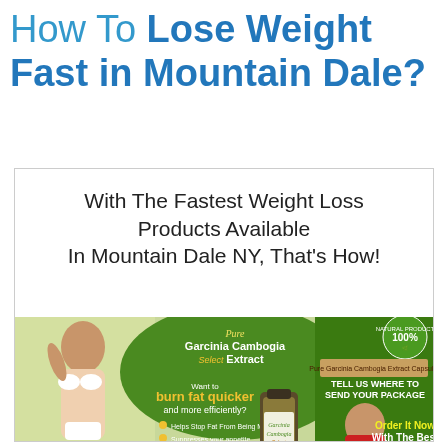How To Lose Weight Fast in Mountain Dale?
With The Fastest Weight Loss Products Available In Mountain Dale NY, That's How!
[Figure (advertisement): Garcinia Cambogia Select Extract advertisement showing a woman in bikini, product bottles, bullet points about benefits (Helps Stop Fat From Being Made, Suppresses your appetite, Increase serotonin levels for emotional eaters), 100% Satisfaction, 100% Natural Product badge, and Order It Now With The Best Offer Of Buy text on green background]